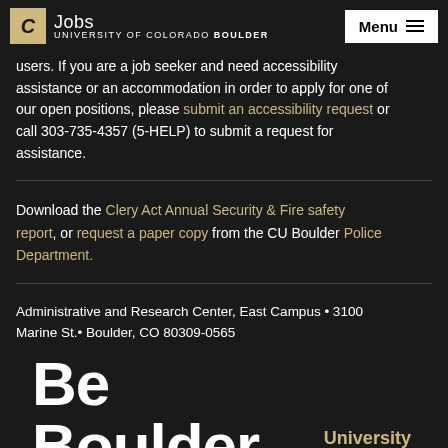Jobs | University of Colorado Boulder | Menu
users. If you are a job seeker and need accessibility assistance or an accommodation in order to apply for one of our open positions, please submit an accessibility request or call 303-735-4357 (5-HELP) to submit a request for assistance.
Download the Clery Act Annual Security & Fire safety report, or request a paper copy from the CU Boulder Police Department.
Administrative and Research Center, East Campus • 3100 Marine St.• Boulder, CO 80309-0565
Be Boulder. University of Colorado Boulder
Apply Now | Share